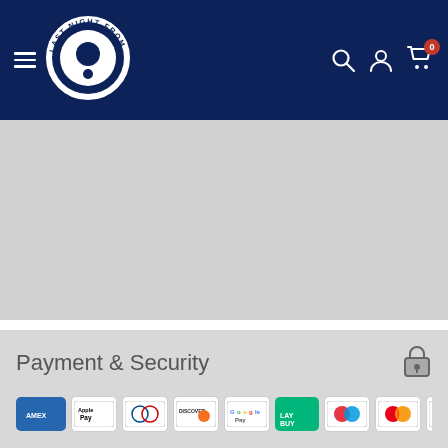[Figure (logo): Last Night From Glasgow circular logo in white on dark navy header, with hamburger menu icon on left and search, user, cart icons on right]
[Figure (other): Grey blank content area below the navigation header]
Payment & Security
[Figure (other): Row of payment method icons: Amex, Apple Pay, Diners Club, Discover, Google Pay, Laybuy, Maestro, Mastercard, PayPal]